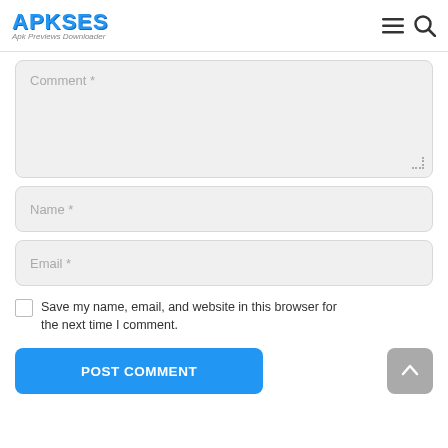APKSES — Apk Previews Downloader
Comment *
Name *
Email *
Save my name, email, and website in this browser for the next time I comment.
POST COMMENT